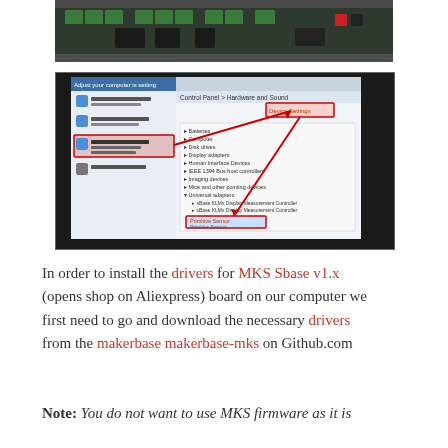[Figure (photo): Close-up photo of a PCB board (MKS Sbase v1.x) showing green connectors, chips, and electronic components on a white background.]
[Figure (screenshot): Screenshot of a Windows computer showing the Device Manager and Control Panel, with red arrows pointing to 'Device Settings' and 'Primitive Sensor' entries, and a red box highlighting 'Bluetooth and Other Devices' in the left panel.]
In order to install the drivers for MKS Sbase v1.x (opens shop on Aliexpress) board on our computer we first need to go and download the necessary drivers from the makerbase makerbase-mks on Github.com
Note: You do not want to use MKS firmware as it is